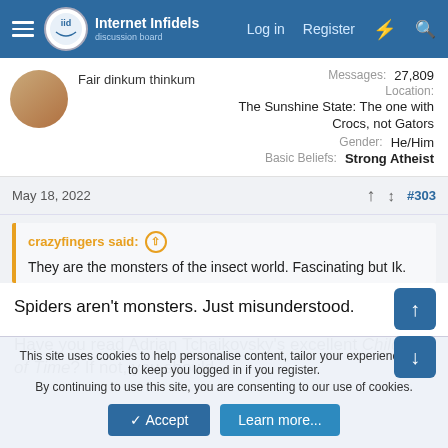Internet Infidels — Log in | Register
Fair dinkum thinkum
Messages: 27,809
Location: The Sunshine State: The one with Crocs, not Gators
Gender: He/Him
Basic Beliefs: Strong Atheist
May 18, 2022  #303
crazyfingers said: ↑
They are the monsters of the insect world. Fascinating but Ik.
Spiders aren't monsters. Just misunderstood.

Have you read Adrian Tchaikovsky's excellent Children of Time? If not, you should.
This site uses cookies to help personalise content, tailor your experience and to keep you logged in if you register.
By continuing to use this site, you are consenting to our use of cookies.